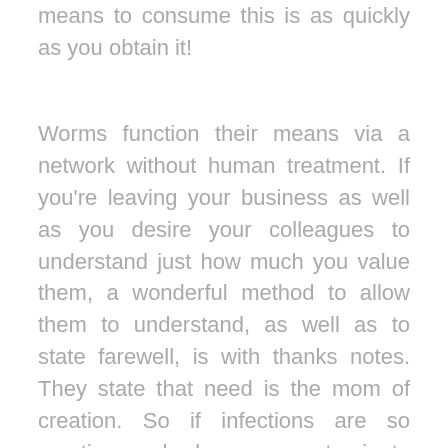means to consume this is as quickly as you obtain it!
Worms function their means via a network without human treatment. If you're leaving your business as well as you desire your colleagues to understand just how much you value them, a wonderful method to allow them to understand, as well as to state farewell, is with thanks notes. They state that need is the mom of creation. So if infections are so creative and also can contaminate anything, why have they not contaminated extra Macs? Utilizing the Net to spread out, a well-crafted infection can contaminate countless